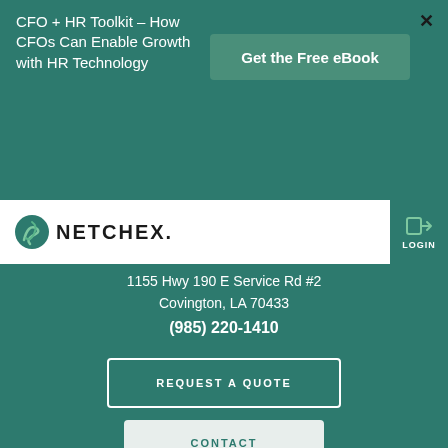CFO + HR Toolkit - How CFOs Can Enable Growth with HR Technology
Get the Free eBook
[Figure (logo): Netchex logo with green leaf/N icon and NETCHEX. wordmark]
1155 Hwy 190 E Service Rd #2
Covington, LA 70433
(985) 220-1410
REQUEST A QUOTE
CONTACT